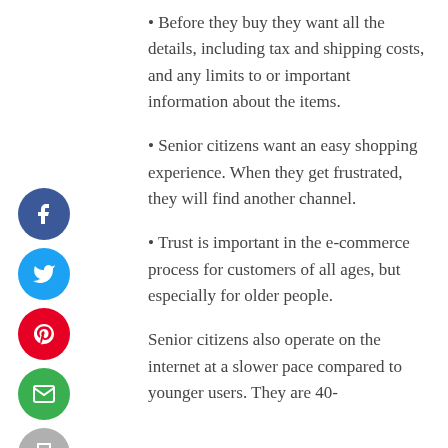Before they buy they want all the details, including tax and shipping costs, and any limits to or important information about the items.
Senior citizens want an easy shopping experience. When they get frustrated, they will find another channel.
Trust is important in the e-commerce process for customers of all ages, but especially for older people.
Senior citizens also operate on the internet at a slower pace compared to younger users. They are 40-